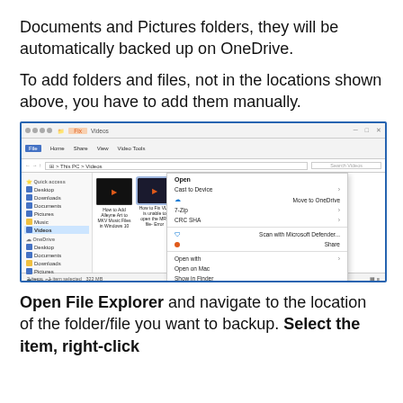Documents and Pictures folders, they will be automatically backed up on OneDrive.
To add folders and files, not in the locations shown above, you have to add them manually.
[Figure (screenshot): Windows File Explorer showing Videos folder with a context menu open. The context menu shows options including Open, Cast to Device, Move to OneDrive, 7-Zip, CRC SHA, Scan with Microsoft Defender, Share, Open with, Open on Mac, Show in Finder, Share on, Give access to, Add to archive, Add to How to Fix VLC, Compress and email, Compress to, Copy as path, Restore previous versions, Send to, Cut, Copy, Create shortcut (highlighted), Delete, Rename, Properties.]
Open File Explorer and navigate to the location of the folder/file you want to backup. Select the item, right-click